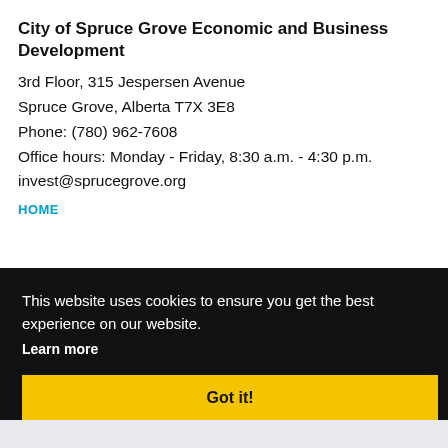City of Spruce Grove Economic and Business Development
3rd Floor, 315 Jespersen Avenue
Spruce Grove, Alberta T7X 3E8
Phone: (780) 962-7608
Office hours: Monday - Friday, 8:30 a.m. - 4:30 p.m.
invest@sprucegrove.org
HOME
This website uses cookies to ensure you get the best experience on our website.
Learn more
Got it!